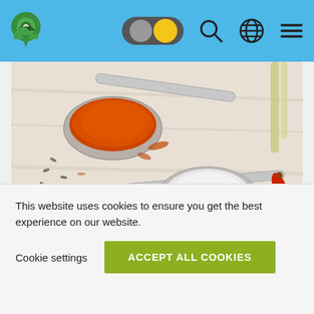Navigation header with logo, toggle switch, search, globe, and menu icons
[Figure (photo): Overhead photo of three ornate silver spoons with red/orange spice powder, white salt/sugar, and yellow powder, surrounded by seeds, herbs, chili pepper on a light wooden surface]
Swing the cooking spoon
This website uses cookies to ensure you get the best experience on our website.
Cookie settings  ACCEPT ALL COOKIES